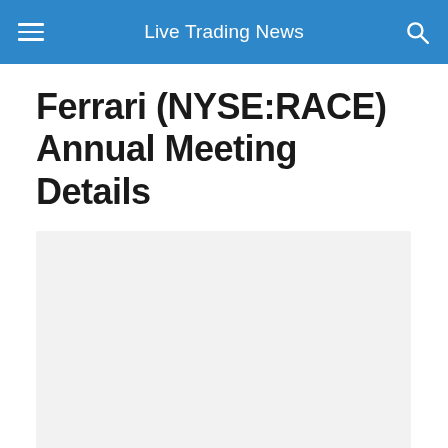Live Trading News
Ferrari (NYSE:RACE) Annual Meeting Details
[Figure (other): Gray placeholder image area below the article title]